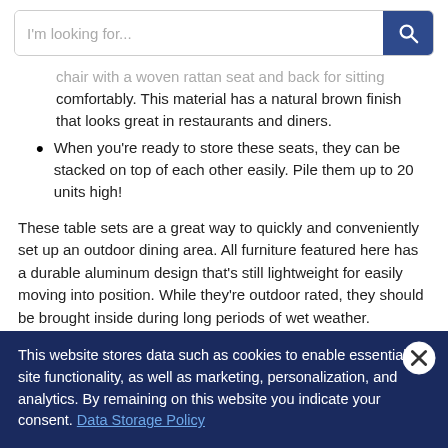I'm looking for...
chair with a woven rattan seat and back for sitting comfortably. This material has a natural brown finish that looks great in restaurants and diners.
When you're ready to store these seats, they can be stacked on top of each other easily. Pile them up to 20 units high!
These table sets are a great way to quickly and conveniently set up an outdoor dining area. All furniture featured here has a durable aluminum design that's still lightweight for easily moving into position. While they're outdoor rated, they should be brought inside during long periods of wet weather. Although the sets can handle moisture, extended exposure to water will reduce their longevity.
This website stores data such as cookies to enable essential site functionality, as well as marketing, personalization, and analytics. By remaining on this website you indicate your consent. Data Storage Policy